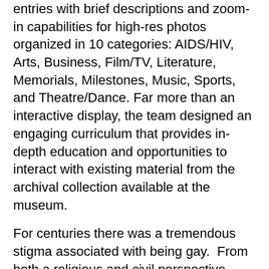entries with brief descriptions and zoom-in capabilities for high-res photos organized in 10 categories: AIDS/HIV, Arts, Business, Film/TV, Literature, Memorials, Milestones, Music, Sports, and Theatre/Dance. Far more than an interactive display, the team designed an engaging curriculum that provides in-depth education and opportunities to interact with existing material from the archival collection available at the museum.
For centuries there was a tremendous stigma associated with being gay. From both a religious and civil perspective people have been ostracized because of who they love. This prejudice has caused a tremendous amount of hardship for many people.
Over the past few decades, students and proponents of gay studies and gay rights have looked at LGBTQ history to understand where the bias comes from and how people have worked to overcome that stigma. This work is done to improve the people today and future generations.
Understanding LGBTQ history of bias is important to anyone who cares about racism, sexism, ageism, or any form of